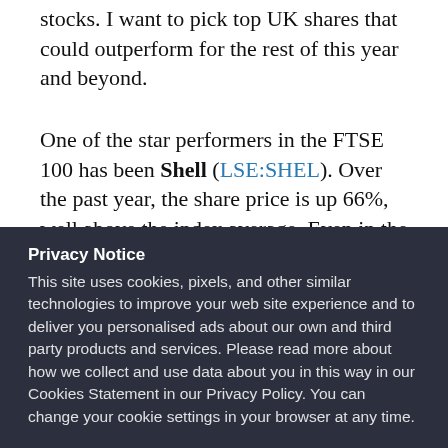stocks. I want to pick top UK shares that could outperform for the rest of this year and beyond.
One of the star performers in the FTSE 100 has been Shell (LSE:SHEL). Over the past year, the share price is up 66%, well above the index average. Even in the short term, the share price
Privacy Notice
This site uses cookies, pixels, and other similar technologies to improve your web site experience and to deliver you personalised ads about our own and third party products and services. Please read more about how we collect and use data about you in this way in our Cookies Statement in our Privacy Policy. You can change your cookie settings in your browser at any time.